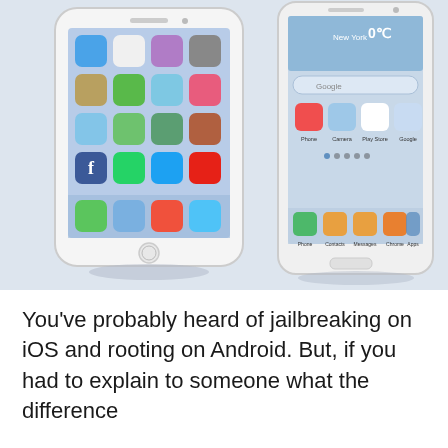[Figure (photo): Two smartphones side by side on a light blue/grey background. Left: white iPhone showing iOS 7 home screen with app icons (Messages, Calendar, Photos, Camera, Newsstand, Maps, Weather, iTunes Store, App Store, FaceTime, Vine, Instagram, Facebook, WhatsApp, Twitter, YouTube, Phone, Messages, Music, Safari). Right: white Samsung Android phone showing TouchWiz home screen with weather widget (New York 0°C), Google search bar, app icons (Phone, Camera, Play Store, Google, Phone, Contacts, Messages, Chrome, Apps).]
You've probably heard of jailbreaking on iOS and rooting on Android. But, if you had to explain to someone what the difference between the two is, could you do that?